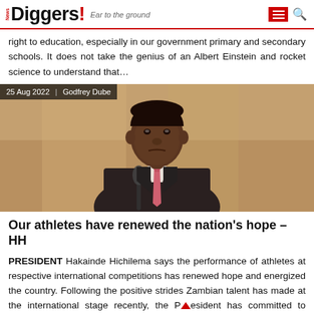News Diggers! Ear to the ground
right to education, especially in our government primary and secondary schools. It does not take the genius of an Albert Einstein and rocket science to understand that…
[Figure (photo): Photo of President Hakainde Hichilema speaking at a podium, wearing a dark suit with a pink tie and a small green pin, with a warm golden background. Overlay text: '25 Aug 2022 | Godfrey Dube']
Our athletes have renewed the nation's hope – HH
PRESIDENT Hakainde Hichilema says the performance of athletes at respective international competitions has renewed hope and energized the country. Following the positive strides Zambian talent has made at the international stage recently, the President has committed to continue investing in sport as he urged athletes to continue working hard. To our